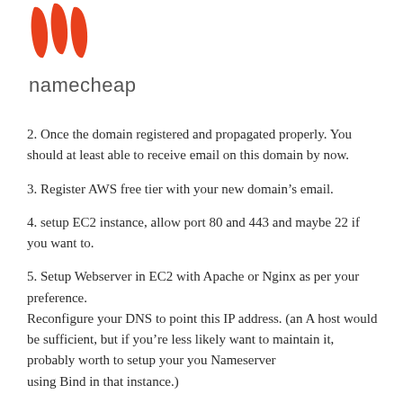[Figure (logo): Namecheap logo: orange stylized W/N mark above the word 'namecheap' in grey sans-serif]
2. Once the domain registered and propagated properly. You should at least able to receive email on this domain by now.
3. Register AWS free tier with your new domain's email.
4. setup EC2 instance, allow port 80 and 443 and maybe 22 if you want to.
5. Setup Webserver in EC2 with Apache or Nginx as per your preference.
Reconfigure your DNS to point this IP address. (an A host would be sufficient, but if you're less likely want to maintain it, probably worth to setup your you Nameserver using Bind in that instance.)